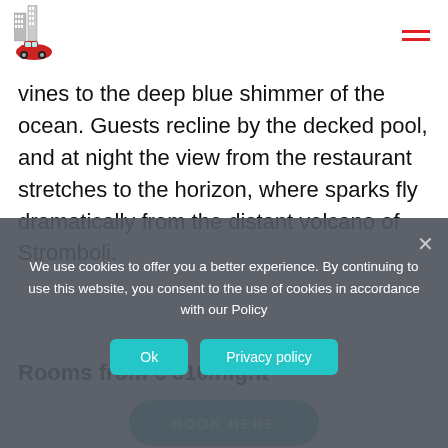Logo and navigation menu icon
vines to the deep blue shimmer of the ocean. Guests recline by the decked pool, and at night the view from the restaurant stretches to the horizon, where sparks fly dramatically from the distant volcano of Stromboli.
Rooms from € 310/night
BOOK HERE
We use cookies to offer you a better experience. By continuing to use this website, you consent to the use of cookies in accordance with our Policy
Ok
Privacy policy